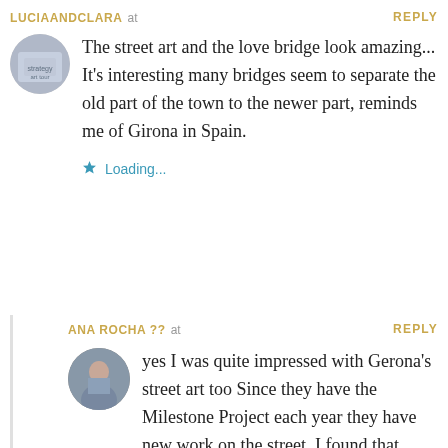LUCIAANDCLARA at REPLY
The street art and the love bridge look amazing... It's interesting many bridges seem to separate the old part of the town to the newer part, reminds me of Girona in Spain.
Loading...
ANA ROCHA ?? at REPLY
yes I was quite impressed with Gerona's street art too Since they have the Milestone Project each year they have new work on the street. I found that